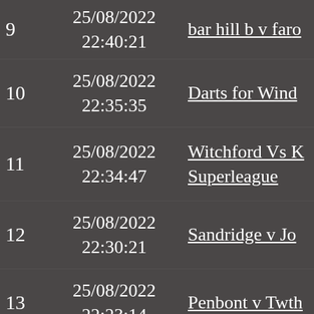| # | Date/Time | Match |
| --- | --- | --- |
| 9 | 25/08/2022 22:40:21 | bar hill b v faro... |
| 10 | 25/08/2022 22:35:35 | Darts for Wind... |
| 11 | 25/08/2022 22:34:47 | Witchford Vs ... Superleague |
| 12 | 25/08/2022 22:30:21 | Sandridge v Jo... |
| 13 | 25/08/2022 22:23:14 | Penbont v Twt... |
| 14 | 25/08/2022 ... | Gwynedd Ladi... |